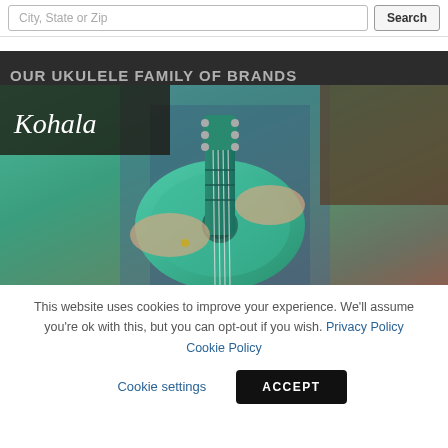City, State or Zip | Search
OUR UKULELE FAMILY OF BRANDS
[Figure (photo): Person playing a teal/turquoise Kohala ukulele, wearing denim overalls. Kohala brand logo overlay in top-left corner.]
This website uses cookies to improve your experience. We'll assume you're ok with this, but you can opt-out if you wish. Privacy Policy Cookie Policy
Cookie settings
ACCEPT